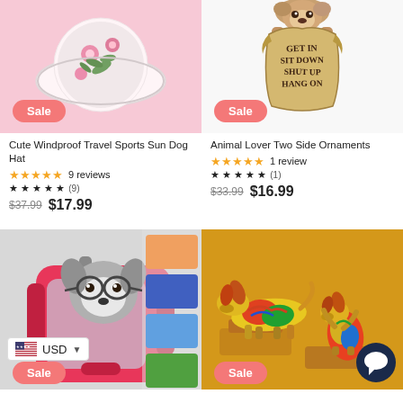[Figure (photo): Dog sun hat with floral pattern on pink background, Sale badge]
Cute Windproof Travel Sports Sun Dog Hat
★★★★★ 9 reviews
$37.99  $17.99
[Figure (photo): Decorative sign held by bulldog reading GET IN SIT DOWN SHUT UP HANG ON, Sale badge]
Animal Lover Two Side Ornaments
★★★★★ 1 review
$33.99  $16.99
[Figure (photo): Dog wearing glasses in pink backpack carrier, USD currency selector, Sale badge]
[Figure (photo): Two colorful dachshund figurines on yellow background, Sale badge, chat bubble icon]